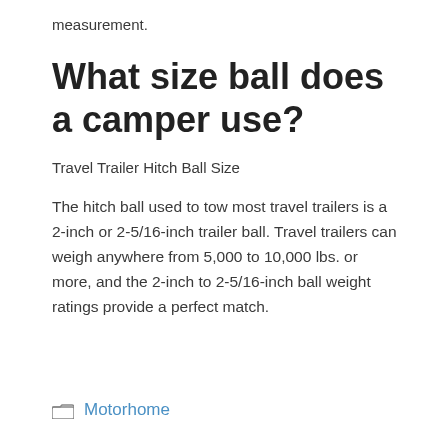measurement.
What size ball does a camper use?
Travel Trailer Hitch Ball Size
The hitch ball used to tow most travel trailers is a 2-inch or 2-5/16-inch trailer ball. Travel trailers can weigh anywhere from 5,000 to 10,000 lbs. or more, and the 2-inch to 2-5/16-inch ball weight ratings provide a perfect match.
Motorhome